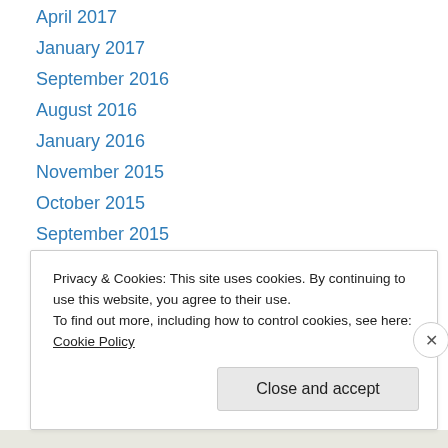April 2017
January 2017
September 2016
August 2016
January 2016
November 2015
October 2015
September 2015
August 2015
July 2015
June 2015
May 2015
April 2015
March 2015
Privacy & Cookies: This site uses cookies. By continuing to use this website, you agree to their use.
To find out more, including how to control cookies, see here: Cookie Policy
Close and accept